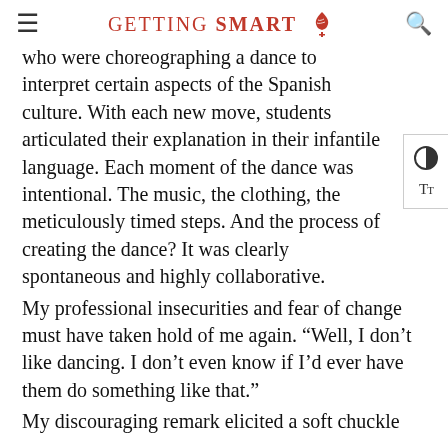GETTING SMART
who were choreographing a dance to interpret certain aspects of the Spanish culture. With each new move, students articulated their explanation in their infantile language. Each moment of the dance was intentional. The music, the clothing, the meticulously timed steps. And the process of creating the dance? It was clearly spontaneous and highly collaborative.
My professional insecurities and fear of change must have taken hold of me again. “Well, I don’t like dancing. I don’t even know if I’d ever have them do something like that.”
My discouraging remark elicited a soft chuckle